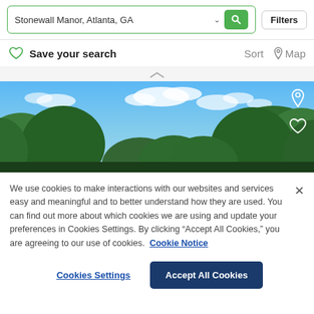Stonewall Manor, Atlanta, GA | Filters | Sort | Map
Save your search
[Figure (photo): Outdoor photo showing a tree canopy with green foliage against a blue sky with white clouds, viewed from below. Location pin icon and heart icon visible in top-right corner.]
We use cookies to make interactions with our websites and services easy and meaningful and to better understand how they are used. You can find out more about which cookies we are using and update your preferences in Cookies Settings. By clicking “Accept All Cookies,” you are agreeing to our use of cookies. Cookie Notice
Cookies Settings | Accept All Cookies